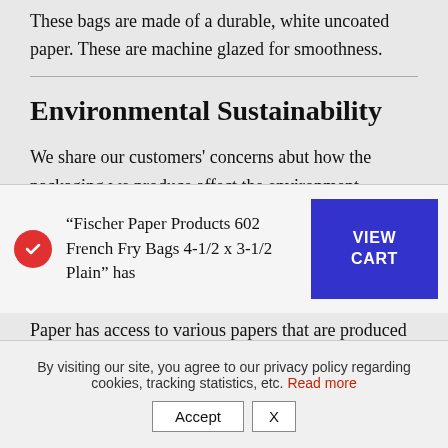These bags are made of a durable, white uncoated paper. These are machine glazed for smoothness.
Environmental Sustainability
We share our customers' concerns abut how the packaging we produce affect the environment.  Fischer Paper's products are biodegradable, made with vegetable-based adhesives and water-based inks that meet EPA and FDA requirements, and are approved for use in the foodservice industry.  Fischer Paper has access to various papers that are produced from...
“Fischer Paper Products 602 French Fry Bags 4-1/2 x 3-1/2 Plain” has
[Figure (other): Blue VIEW CART button]
By visiting our site, you agree to our privacy policy regarding cookies, tracking statistics, etc. Read more
Accept   X